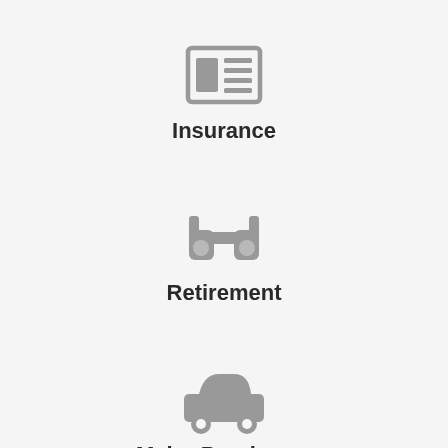[Figure (illustration): Newspaper/document icon in gray]
Insurance
[Figure (illustration): Binoculars icon in gray]
Retirement
[Figure (illustration): Car/automobile icon in gray]
Major Purchases